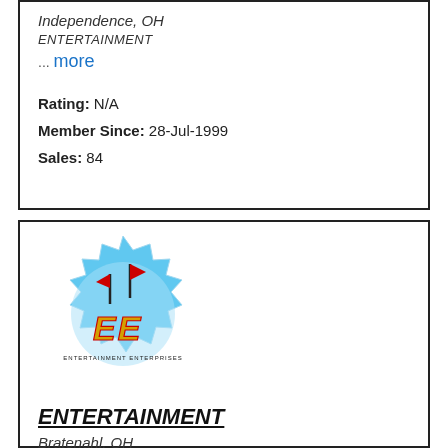Independence, OH
ENTERTAINMENT
... more
Rating: N/A
Member Since: 28-Jul-1999
Sales: 84
[Figure (logo): Entertainment Enterprises logo: blue starburst badge with two red flags and stylized 'EE' letters in gold/red with small text 'ENTERTAINMENT ENTERPRISES' at bottom]
ENTERTAINMENT
Bratenahl, OH
ENTERTAINMENT